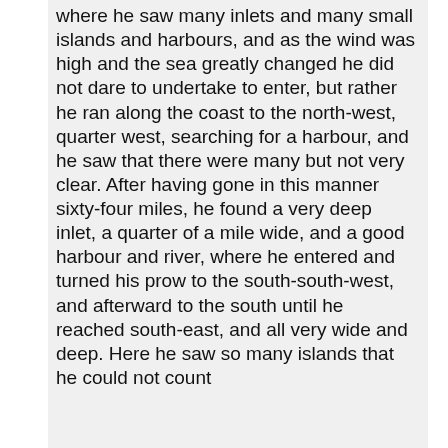where he saw many inlets and many small islands and harbours, and as the wind was high and the sea greatly changed he did not dare to undertake to enter, but rather he ran along the coast to the north-west, quarter west, searching for a harbour, and he saw that there were many but not very clear. After having gone in this manner sixty-four miles, he found a very deep inlet, a quarter of a mile wide, and a good harbour and river, where he entered and turned his prow to the south-south-west, and afterward to the south until he reached south-east, and all very wide and deep. Here he saw so many islands that he could not count